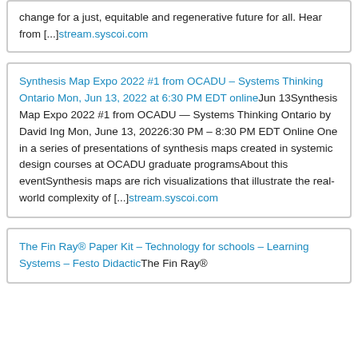change for a just, equitable and regenerative future for all. Hear from [...]stream.syscoi.com
Synthesis Map Expo 2022 #1 from OCADU – Systems Thinking Ontario Mon, Jun 13, 2022 at 6:30 PM EDT onlineJun 13Synthesis Map Expo 2022 #1 from OCADU — Systems Thinking Ontario by David Ing Mon, June 13, 20226:30 PM – 8:30 PM EDT Online One in a series of presentations of synthesis maps created in systemic design courses at OCADU graduate programsAbout this eventSynthesis maps are rich visualizations that illustrate the real-world complexity of [...]stream.syscoi.com
The Fin Ray® Paper Kit – Technology for schools – Learning Systems – Festo DidacticThe Fin Ray®